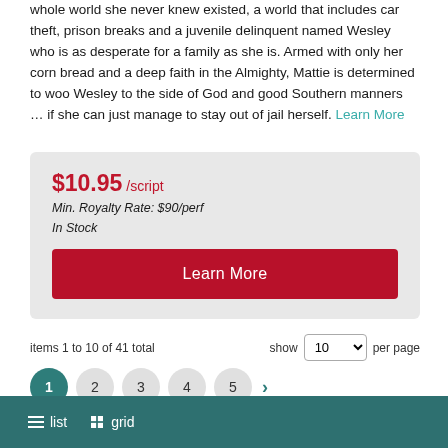whole world she never knew existed, a world that includes car theft, prison breaks and a juvenile delinquent named Wesley who is as desperate for a family as she is. Armed with only her corn bread and a deep faith in the Almighty, Mattie is determined to woo Wesley to the side of God and good Southern manners … if she can just manage to stay out of jail herself. Learn More
$10.95 /script
Min. Royalty Rate: $90/perf
In Stock
Learn More
items 1 to 10 of 41 total
show 10 per page
1 2 3 4 5 >
≡ list  grid